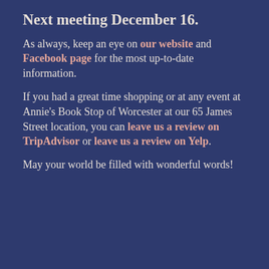Next meeting December 16.
As always, keep an eye on our website and Facebook page for the most up-to-date information.
If you had a great time shopping or at any event at Annie's Book Stop of Worcester at our 65 James Street location, you can leave us a review on TripAdvisor or leave us a review on Yelp.
May your world be filled with wonderful words!